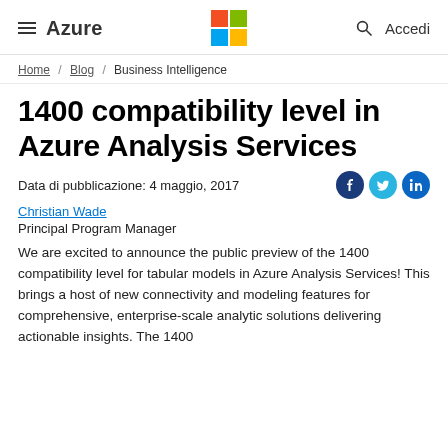Azure / [Microsoft Logo] / [Search] Accedi
Home / Blog / Business Intelligence
1400 compatibility level in Azure Analysis Services
Data di pubblicazione: 4 maggio, 2017
Christian Wade
Principal Program Manager
We are excited to announce the public preview of the 1400 compatibility level for tabular models in Azure Analysis Services! This brings a host of new connectivity and modeling features for comprehensive, enterprise-scale analytic solutions delivering actionable insights. The 1400